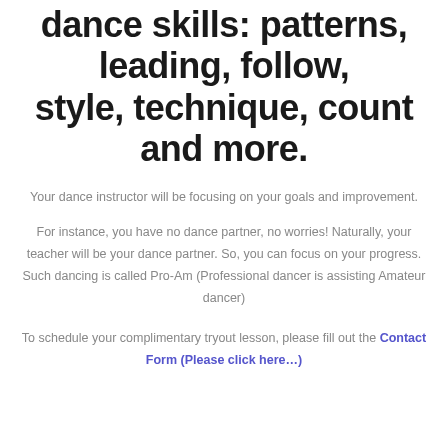dance skills: patterns, leading, follow, style, technique, count and more.
Your dance instructor will be focusing on your goals and improvement.
For instance, you have no dance partner, no worries! Naturally, your teacher will be your dance partner. So, you can focus on your progress. Such dancing is called Pro-Am (Professional dancer is assisting Amateur dancer)
To schedule your complimentary tryout lesson, please fill out the Contact Form (Please click here…)